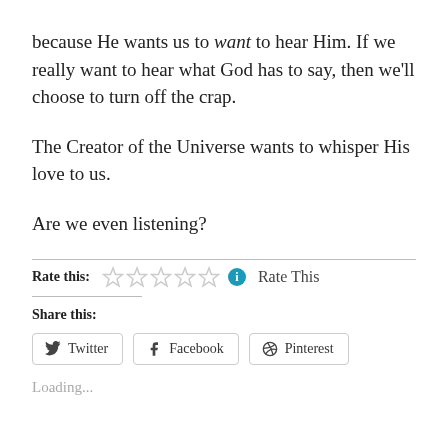because He wants us to want to hear Him. If we really want to hear what God has to say, then we'll choose to turn off the crap.
The Creator of the Universe wants to whisper His love to us.
Are we even listening?
Rate this: ☆☆☆☆☆ ℹ Rate This
Share this:
Twitter  Facebook  Pinterest
Loading...